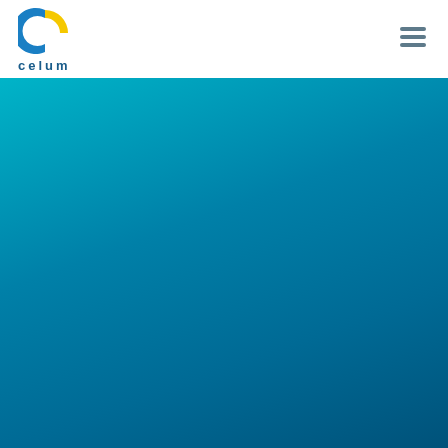[Figure (logo): CELUM logo: a stylized 'C' shape with blue and yellow coloring, accompanied by the text 'celum' in dark blue below]
[Figure (other): Hamburger menu icon with three horizontal dark gray bars]
[Figure (other): Large teal/cyan gradient background covering the lower portion of the page, transitioning from bright teal at top-left to deeper blue at bottom-right]